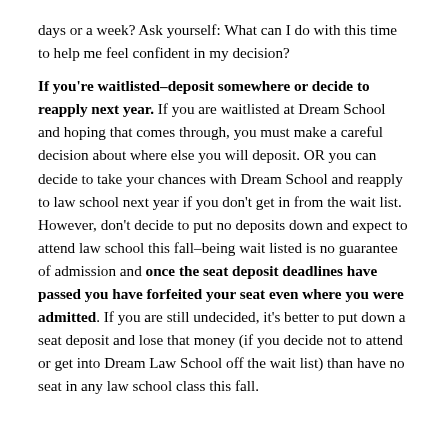days or a week? Ask yourself: What can I do with this time to help me feel confident in my decision?
If you're waitlisted–deposit somewhere or decide to reapply next year. If you are waitlisted at Dream School and hoping that comes through, you must make a careful decision about where else you will deposit. OR you can decide to take your chances with Dream School and reapply to law school next year if you don't get in from the wait list. However, don't decide to put no deposits down and expect to attend law school this fall–being wait listed is no guarantee of admission and once the seat deposit deadlines have passed you have forfeited your seat even where you were admitted. If you are still undecided, it's better to put down a seat deposit and lose that money (if you decide not to attend or get into Dream Law School off the wait list) than have no seat in any law school class this fall.